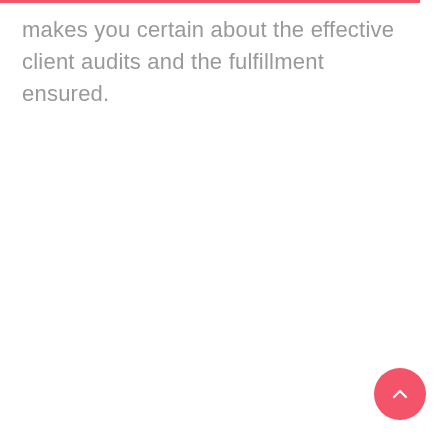makes you certain about the effective client audits and the fulfillment ensured.
[Figure (other): Floating action button (FAB) — a circular pink/red button with an upward-pointing chevron/caret icon, positioned in the bottom-right corner of the page.]